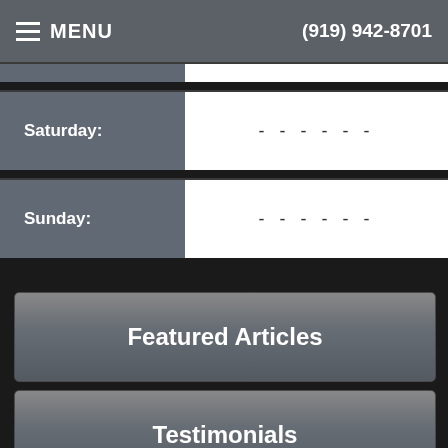MENU  (919) 942-8701
| Day | Hours |
| --- | --- |
| Saturday: | - - - - - - |
| Sunday: | - - - - - - |
Featured Articles
Testimonials
[Figure (logo): Accessibility icon - blue circle with wheelchair symbol]
[Figure (logo): Facebook logo icon - white background with stylized f]
[Figure (logo): Twitter logo icon - white background with bird symbol]